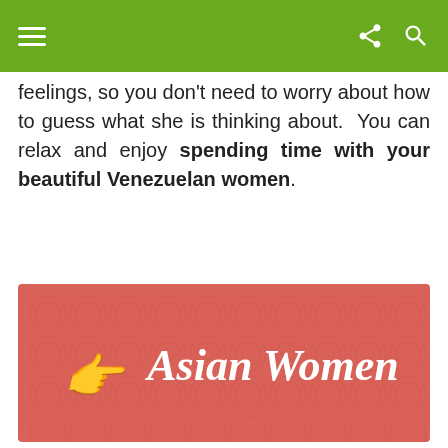Navigation bar with hamburger menu, share, and search icons
feelings, so you don't need to worry about how to guess what she is thinking about. You can relax and enjoy spending time with your beautiful Venezuelan women.
[Figure (illustration): Red/coral banner with swirl pattern background, pointing hand emoji and text 'Asian Women' in white italic font]
[Figure (illustration): Blue banner with swirl pattern background, pointing hand emoji and text 'Latin Women' in white italic font]